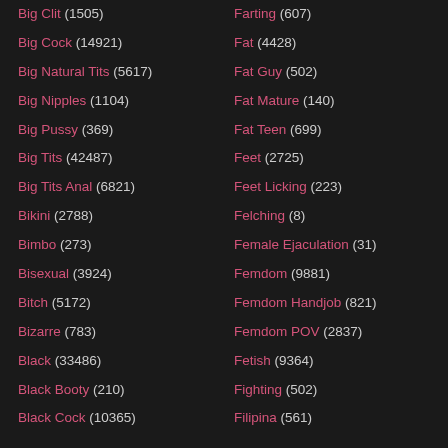Big Clit (1505)
Big Cock (14921)
Big Natural Tits (5617)
Big Nipples (1104)
Big Pussy (369)
Big Tits (42487)
Big Tits Anal (6821)
Bikini (2788)
Bimbo (273)
Bisexual (3924)
Bitch (5172)
Bizarre (783)
Black (33486)
Black Booty (210)
Black Cock (10365)
Farting (607)
Fat (4428)
Fat Guy (502)
Fat Mature (140)
Fat Teen (699)
Feet (2725)
Feet Licking (223)
Felching (8)
Female Ejaculation (31)
Femdom (9881)
Femdom Handjob (821)
Femdom POV (2837)
Fetish (9364)
Fighting (502)
Filipina (561)